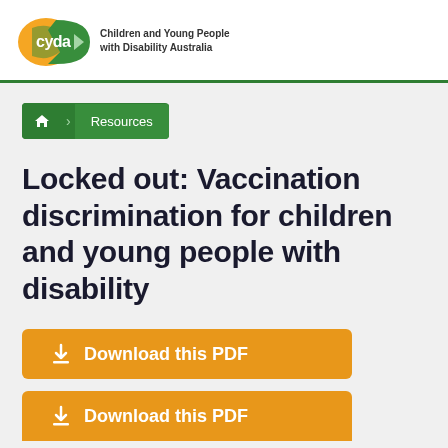[Figure (logo): CYDA logo with orange and green arrow speech bubble shapes, text 'cyda' in white, alongside text 'Children and Young People with Disability Australia']
Resources
Locked out: Vaccination discrimination for children and young people with disability
Download this PDF
Download this PDF